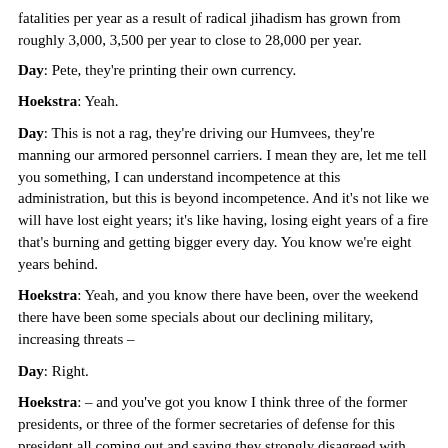fatalities per year as a result of radical jihadism has grown from roughly 3,000, 3,500 per year to close to 28,000 per year.
Day: Pete, they're printing their own currency.
Hoekstra: Yeah.
Day: This is not a rag, they're driving our Humvees, they're manning our armored personnel carriers. I mean they are, let me tell you something, I can understand incompetence at this administration, but this is beyond incompetence. And it's not like we will have lost eight years; it's like having, losing eight years of a fire that's burning and getting bigger every day. You know we're eight years behind.
Hoekstra: Yeah, and you know there have been, over the weekend there have been some specials about our declining military, increasing threats –
Day: Right.
Hoekstra: – and you've got you know I think three of the former presidents, or three of the former secretaries of defense for this president all coming out and saying they strongly disagreed with this president about pulling out of Iraq, about you know going into Libya, and a number of the strategies that he's made. But the